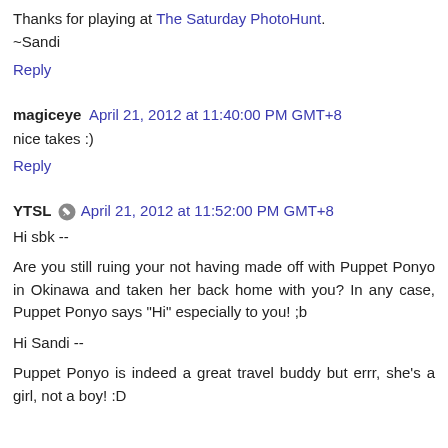Thanks for playing at The Saturday PhotoHunt.
~Sandi
Reply
magiceye  April 21, 2012 at 11:40:00 PM GMT+8
nice takes :)
Reply
YTSL  April 21, 2012 at 11:52:00 PM GMT+8
Hi sbk --
Are you still ruing your not having made off with Puppet Ponyo in Okinawa and taken her back home with you? In any case, Puppet Ponyo says "Hi" especially to you! ;b
Hi Sandi --
Puppet Ponyo is indeed a great travel buddy but errr, she's a girl, not a boy! :D